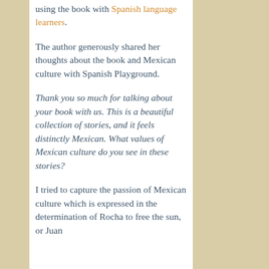using the book with Spanish language learners.
The author generously shared her thoughts about the book and Mexican culture with Spanish Playground.
Thank you so much for talking about your book with us. This is a beautiful collection of stories, and it feels distinctly Mexican. What values of Mexican culture do you see in these stories?
I tried to capture the passion of Mexican culture which is expressed in the determination of Rocha to free the sun, or Juan